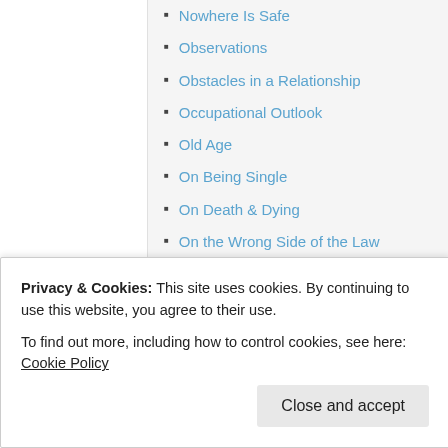Nowhere Is Safe
Observations
Obstacles in a Relationship
Occupational Outlook
Old Age
On Being Single
On Death & Dying
On the Wrong Side of the Law
Online Relationships
Overbearing
Privacy & Cookies: This site uses cookies. By continuing to use this website, you agree to their use.
To find out more, including how to control cookies, see here: Cookie Policy
Close and accept